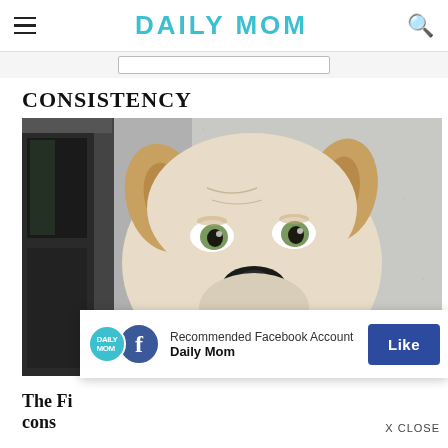DAILY MOM
CONSISTENCY
[Figure (photo): Close-up photo of a white/cream boxer or pit bull dog looking at the camera with expressive green/hazel eyes, against a grey textured wall background with a dark window frame on the left]
Recommended Facebook Account
Daily Mom
The Fi...
CONS...
X CLOSE